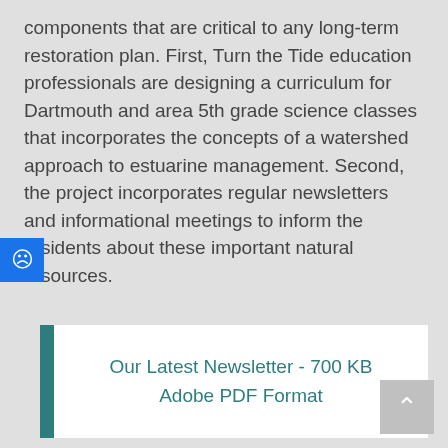components that are critical to any long-term restoration plan. First, Turn the Tide education professionals are designing a curriculum for Dartmouth and area 5th grade science classes that incorporates the concepts of a watershed approach to estuarine management. Second, the project incorporates regular newsletters and informational meetings to inform the residents about these important natural resources.
Our Latest Newsletter - 700 KB Adobe PDF Format